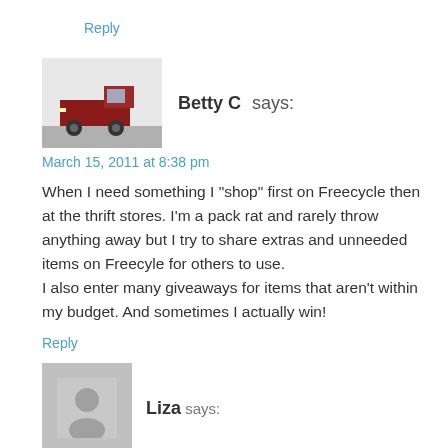Reply
Betty C says:
March 15, 2011 at 8:38 pm
When I need something I "shop" first on Freecycle then at the thrift stores. I'm a pack rat and rarely throw anything away but I try to share extras and unneeded items on Freecyle for others to use.
I also enter many giveaways for items that aren't within my budget. And sometimes I actually win!
Reply
Liza says: